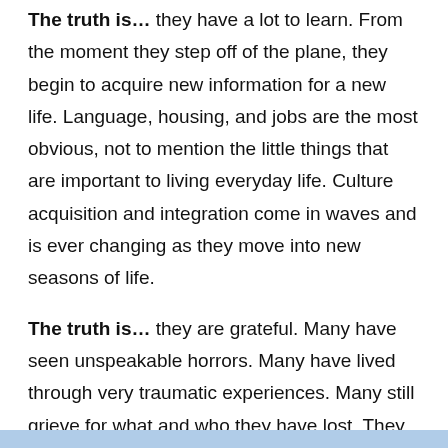The truth is… they have a lot to learn. From the moment they step off of the plane, they begin to acquire new information for a new life. Language, housing, and jobs are the most obvious, not to mention the little things that are important to living everyday life. Culture acquisition and integration come in waves and is ever changing as they move into new seasons of life.
The truth is… they are grateful. Many have seen unspeakable horrors. Many have lived through very traumatic experiences. Many still grieve for what and who they have lost. They are grateful for a safe place to heal and grow.
The truth is… they waited. It can take several years to gain